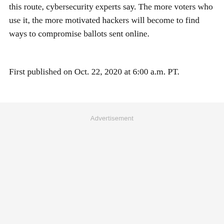this route, cybersecurity experts say. The more voters who use it, the more motivated hackers will become to find ways to compromise ballots sent online.
First published on Oct. 22, 2020 at 6:00 a.m. PT.
Advertisement